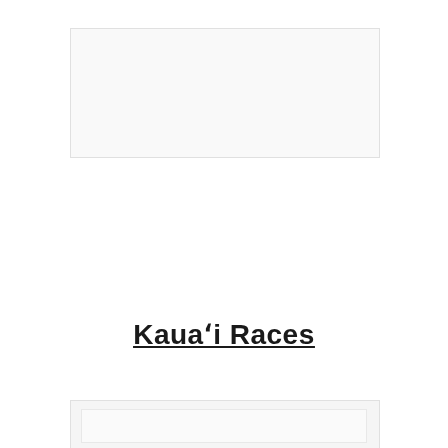[Figure (photo): Light-colored rectangular image placeholder at top of page]
Kaua‘i Races
[Figure (photo): Light-colored rectangular image placeholder at bottom of page]